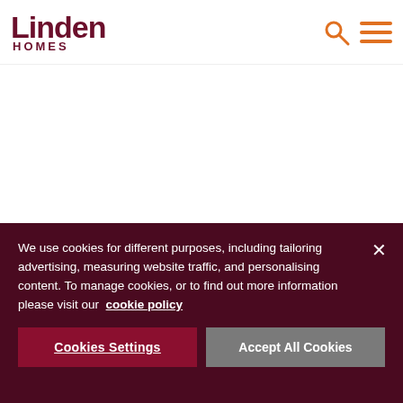[Figure (logo): Linden Homes logo with 'Linden' in large dark red serif-style font and 'HOMES' in smaller spaced capitals below]
[Figure (other): Search icon (magnifying glass) and hamburger menu icon in orange]
We use cookies for different purposes, including tailoring advertising, measuring website traffic, and personalising content. To manage cookies, or to find out more information please visit our cookie policy
Cookies Settings
Accept All Cookies